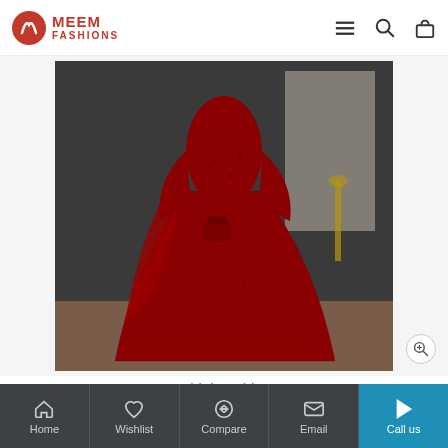MEEM FASHIONS
[Figure (photo): A woman wearing a deep red/maroon long formal anarkali gown with full sleeves, holding a red clutch purse, standing against a dark grey wall with a golden candelabra visible.]
Mohini Fashions
Home | Wishlist | Compare | Email | Call us